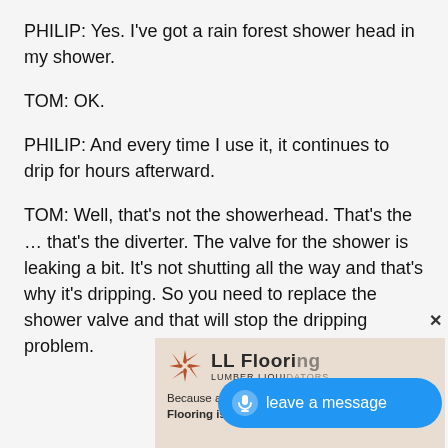PHILIP: Yes. I've got a rain forest shower head in my shower.
TOM: OK.
PHILIP: And every time I use it, it continues to drip for hours afterward.
TOM: Well, that's not the showerhead. That's the … that's the diverter. The valve for the shower is leaking a bit. It's not shutting all the way and that's why it's dripping. So you need to replace the shower valve and that will stop the dripping problem.
[Figure (screenshot): LL Flooring (Lumber Liquidators) advertisement banner with logo, tagline 'Because a name should reflect what we do. Flooring is all we do. No lumber. No liquidation.']
[Figure (screenshot): Blue 'leave a message' button with microphone icon]